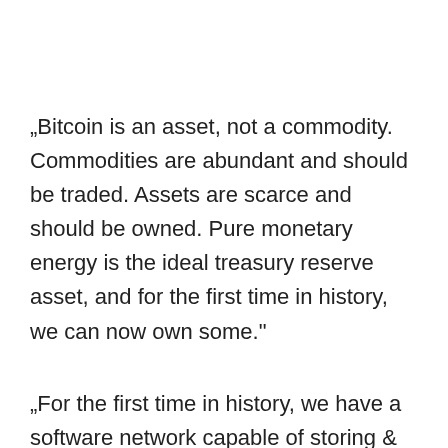„Bitcoin is an asset, not a commodity. Commodities are abundant and should be traded. Assets are scarce and should be owned. Pure monetary energy is the ideal treasury reserve asset, and for the first time in history, we can now own some."
„For the first time in history, we have a software network capable of storing & channeling monetary energy without power loss. Bitcoin is the first digital monetary network. As investors & enterprises come to realize this, the...